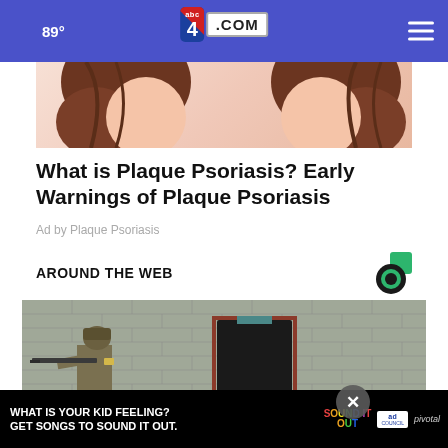89° abc4.com
[Figure (illustration): Partial view of an illustrated character with brown hair on a peach/skin-toned background — advertisement image for plaque psoriasis]
What is Plaque Psoriasis? Early Warnings of Plaque Psoriasis
Ad by Plaque Psoriasis
AROUND THE WEB
[Figure (photo): Soldier in combat gear aiming a rifle at a white brick building with a dark doorway — news image related to military conflict]
[Figure (other): Advertisement banner: 'WHAT IS YOUR KID FEELING? GET SONGS TO SOUND IT OUT.' with Sound It Out and Ad Council / Pivotal branding]